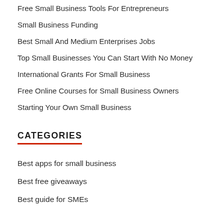Free Small Business Tools For Entrepreneurs
Small Business Funding
Best Small And Medium Enterprises Jobs
Top Small Businesses You Can Start With No Money
International Grants For Small Business
Free Online Courses for Small Business Owners
Starting Your Own Small Business
CATEGORIES
Best apps for small business
Best free giveaways
Best guide for SMEs